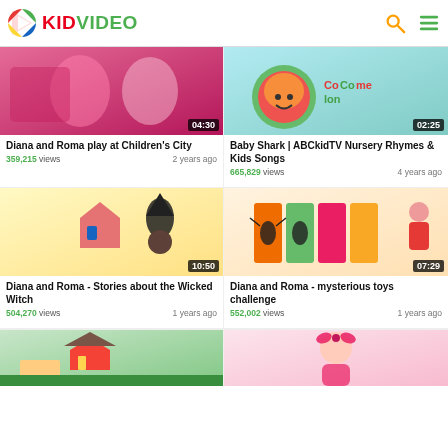KIDVIDEO
[Figure (screenshot): Thumbnail for Diana and Roma play at Children's City, duration 04:30]
Diana and Roma play at Children's City
359,215 views  2 years ago
[Figure (screenshot): Thumbnail for Baby Shark | ABCkidTV Nursery Rhymes & Kids Songs, duration 02:25]
Baby Shark | ABCkidTV Nursery Rhymes & Kids Songs
665,829 views  4 years ago
[Figure (screenshot): Thumbnail for Diana and Roma - Stories about the Wicked Witch, duration 10:50]
Diana and Roma - Stories about the Wicked Witch
504,270 views  1 years ago
[Figure (screenshot): Thumbnail for Diana and Roma - mysterious toys challenge, duration 07:29]
Diana and Roma - mysterious toys challenge
552,002 views  1 years ago
[Figure (screenshot): Thumbnail bottom left - partial, house/garden scene]
[Figure (screenshot): Thumbnail bottom right - partial, girl with bow]